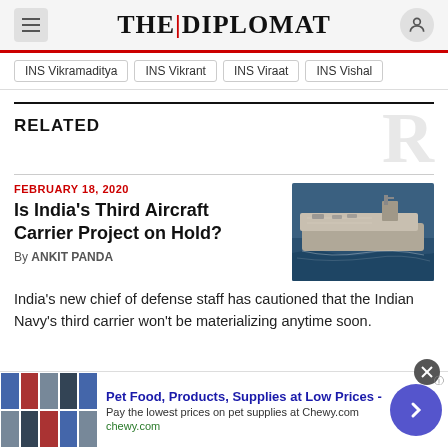THE DIPLOMAT
INS Vikramaditya
INS Vikrant
INS Viraat
INS Vishal
RELATED
FEBRUARY 18, 2020
Is India's Third Aircraft Carrier Project on Hold?
By ANKIT PANDA
[Figure (photo): Aerial view of an Indian aircraft carrier at sea]
India's new chief of defense staff has cautioned that the Indian Navy's third carrier won't be materializing anytime soon.
Pet Food, Products, Supplies at Low Prices - Pay the lowest prices on pet supplies at Chewy.com chewy.com